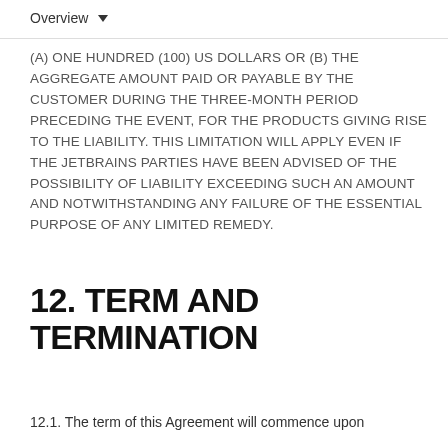Overview
(A) ONE HUNDRED (100) US DOLLARS OR (B) THE AGGREGATE AMOUNT PAID OR PAYABLE BY THE CUSTOMER DURING THE THREE-MONTH PERIOD PRECEDING THE EVENT, FOR THE PRODUCTS GIVING RISE TO THE LIABILITY. THIS LIMITATION WILL APPLY EVEN IF THE JETBRAINS PARTIES HAVE BEEN ADVISED OF THE POSSIBILITY OF LIABILITY EXCEEDING SUCH AN AMOUNT AND NOTWITHSTANDING ANY FAILURE OF THE ESSENTIAL PURPOSE OF ANY LIMITED REMEDY.
12. TERM AND TERMINATION
12.1. The term of this Agreement will commence upon